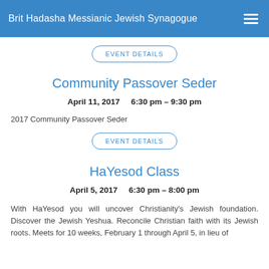Brit Hadasha Messianic Jewish Synagogue
EVENT DETAILS
Community Passover Seder
April 11, 2017     6:30 pm – 9:30 pm
2017 Community Passover Seder
EVENT DETAILS
HaYesod Class
April 5, 2017     6:30 pm – 8:00 pm
With HaYesod you will uncover Christianity's Jewish foundation. Discover the Jewish Yeshua. Reconcile Christian faith with its Jewish roots. Meets for 10 weeks, February 1 through April 5, in lieu of